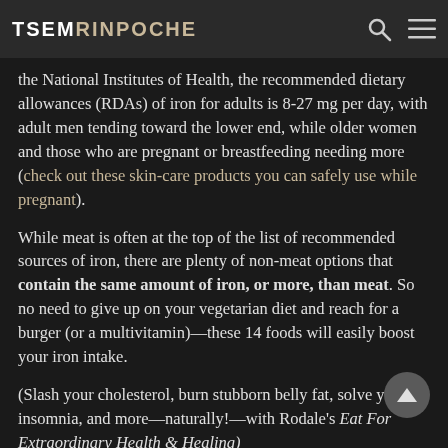TSEM RINPOCHE
the National Institutes of Health, the recommended dietary allowances (RDAs) of iron for adults is 8-27 mg per day, with adult men tending toward the lower end, while older women and those who are pregnant or breastfeeding needing more (check out these skin-care products you can safely use while pregnant).
While meat is often at the top of the list of recommended sources of iron, there are plenty of non-meat options that contain the same amount of iron, or more, than meat. So no need to give up on your vegetarian diet and reach for a burger (or a multivitamin)—these 14 foods will easily boost your iron intake.
(Slash your cholesterol, burn stubborn belly fat, solve your insomnia, and more—naturally!—with Rodale's Eat For Extraordinary Health & Healing)